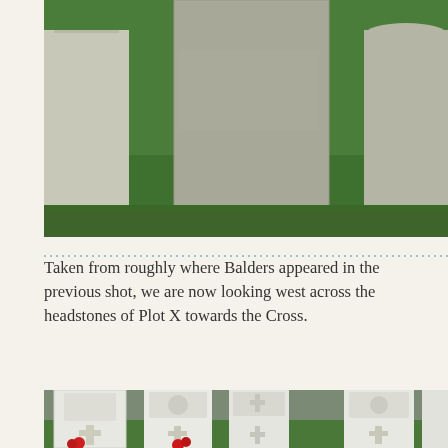[Figure (photo): Photo of military cemetery gravestones viewed from a low angle showing grey/green stone headstones against a green grass background. Three prominent headstones are visible in the foreground.]
Taken from roughly where Balders appeared in the previous shot, we are now looking west across the headstones of Plot X towards the Cross.
[Figure (photo): Photo of white Commonwealth War Graves Commission headstones in a military cemetery. Several white marble headstones with carved military emblems and crosses are visible, with red roses placed in front of them. The graves are set in green grass.]